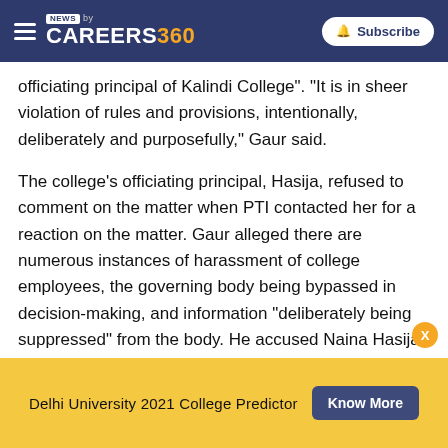NEWS by CAREERS360 | Subscribe
officiating principal of Kalindi College". "It is in sheer violation of rules and provisions, intentionally, deliberately and purposefully," Gaur said.
The college's officiating principal, Hasija, refused to comment on the matter when PTI contacted her for a reaction on the matter. Gaur alleged there are numerous instances of harassment of college employees, the governing body being bypassed in decision-making, and information "deliberately being suppressed" from the body. He accused Naina Hasija of "manipulating" official records, deliberate mala fide
Delhi University 2021 College Predictor  Know More